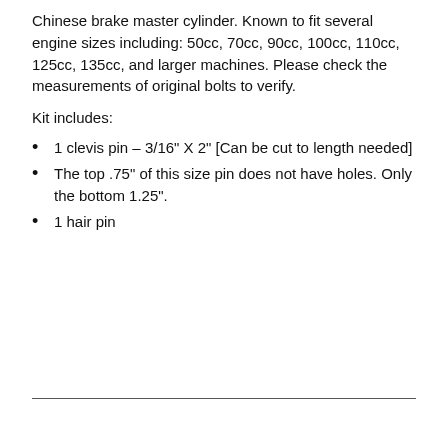Chinese brake master cylinder. Known to fit several engine sizes including: 50cc, 70cc, 90cc, 100cc, 110cc, 125cc, 135cc, and larger machines. Please check the measurements of original bolts to verify.
Kit includes:
1 clevis pin - 3/16" X 2" [Can be cut to length needed]
The top .75" of this size pin does not have holes. Only the bottom 1.25".
1 hair pin